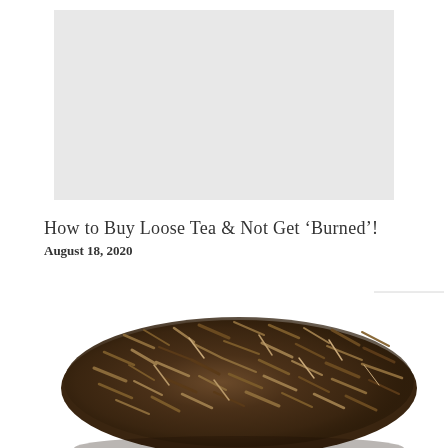[Figure (photo): Light gray placeholder/advertisement image rectangle]
How to Buy Loose Tea & Not Get ‘Burned’!
August 18, 2020
[Figure (photo): Close-up photograph of loose leaf tea (dark brown/olive colored dried tea leaves in a mound) on a white background]